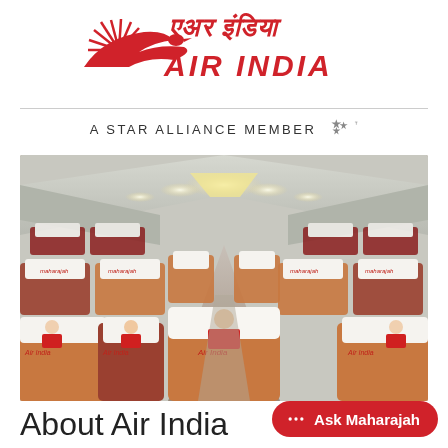[Figure (logo): Air India logo with flying swan/bird emblem and Hindi script (एअर इंडिया) above AIR INDIA in red italic serif text]
A STAR ALLIANCE MEMBER
[Figure (photo): Interior of an Air India aircraft cabin showing rows of red and gold seats with white headrest covers featuring the Maharajah mascot, stretching to the front of the plane with overhead lighting illuminating the aisle]
About Air India
[Figure (illustration): Ask Maharajah chat button — red pill-shaped button with chat bubble icon and text 'Ask Maharajah']